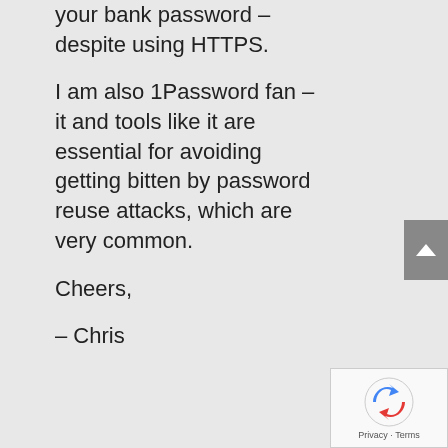your bank password – despite using HTTPS.
I am also 1Password fan – it and tools like it are essential for avoiding getting bitten by password reuse attacks, which are very common.
Cheers,
– Chris